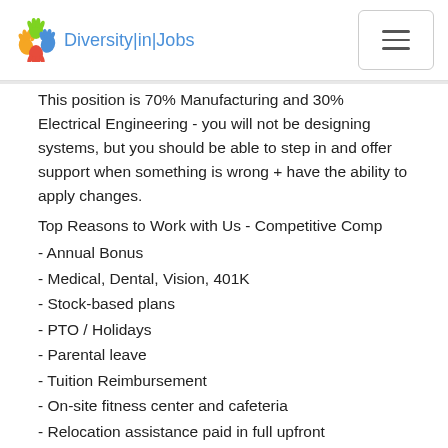Diversity|in|Jobs
This position is 70% Manufacturing and 30% Electrical Engineering - you will not be designing systems, but you should be able to step in and offer support when something is wrong + have the ability to apply changes.
Top Reasons to Work with Us - Competitive Comp
- Annual Bonus
- Medical, Dental, Vision, 401K
- Stock-based plans
- PTO / Holidays
- Parental leave
- Tuition Reimbursement
- On-site fitness center and cafeteria
- Relocation assistance paid in full upfront